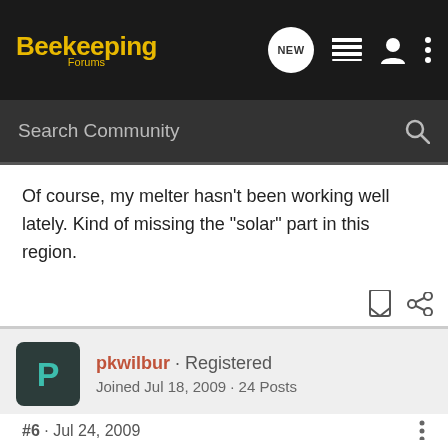Beekeeping Forums
Of course, my melter hasn't been working well lately. Kind of missing the "solar" part in this region.
pkwilbur · Registered
Joined Jul 18, 2009 · 24 Posts
#6 · Jul 24, 2009
I had a Double pane window on my wax melter. Inner pane cracked from excess heat. I should have drilled holes in the metal between the two panes. I took out the broken pane, now have single pane. I have another window in storage that fits along it should be soon if to move and install the child had